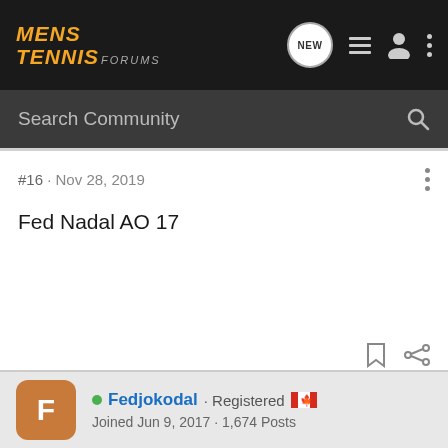MENS TENNIS FORUMS
Search Community
#16 · Nov 28, 2019
Fed Nadal AO 17
Fedjokodal · Registered · Joined Jun 9, 2017 · 1,674 Posts